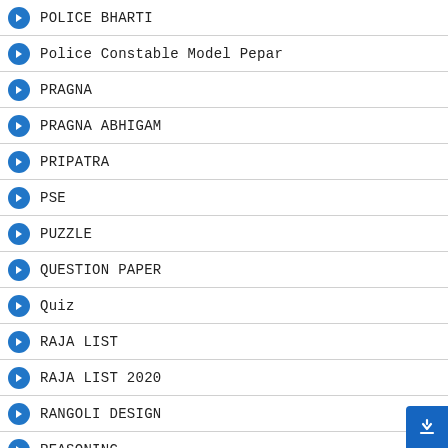POLICE BHARTI
Police Constable Model Pepar
PRAGNA
PRAGNA ABHIGAM
PRIPATRA
PSE
PUZZLE
QUESTION PAPER
Quiz
RAJA LIST
RAJA LIST 2020
RANGOLI DESIGN
REASONING